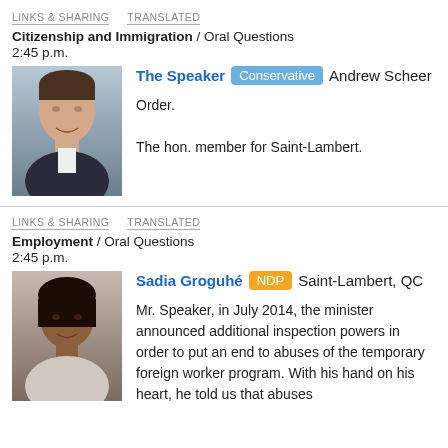LINKS & SHARING   TRANSLATED
Citizenship and Immigration / Oral Questions
2:45 p.m.
[Figure (photo): Portrait photo of Andrew Scheer, a man in a suit smiling]
The Speaker Conservative Andrew Scheer
Order.
The hon. member for Saint-Lambert.
LINKS & SHARING   TRANSLATED
Employment / Oral Questions
2:45 p.m.
[Figure (photo): Portrait photo of Sadia Groguhé, a woman in a light jacket smiling]
Sadia Groguhé NDP Saint-Lambert, QC
Mr. Speaker, in July 2014, the minister announced additional inspection powers in order to put an end to abuses of the temporary foreign worker program. With his hand on his heart, he told us that abuses